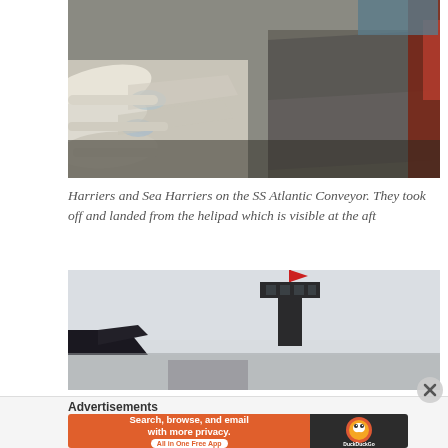[Figure (photo): Military aircraft (Harriers and Sea Harriers) parked on the deck of SS Atlantic Conveyor ship, viewed from an angle showing multiple aircraft lined up.]
Harriers and Sea Harriers on the SS Atlantic Conveyor. They took off and landed from the helipad which is visible at the aft
[Figure (photo): A ship deck with a large T-shaped black control tower/mast structure visible against a light sky, with part of an aircraft tail visible at lower left.]
Advertisements
[Figure (screenshot): DuckDuckGo advertisement banner: left orange section reads 'Search, browse, and email with more privacy. All in One Free App'; right dark section shows DuckDuckGo duck logo and brand name.]